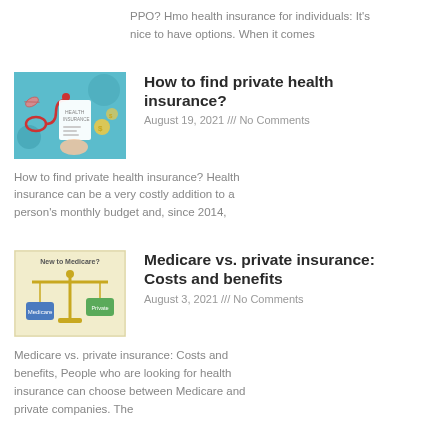PPO? Hmo health insurance for individuals: It's nice to have options. When it comes
[Figure (illustration): Health insurance themed illustration with stethoscope, documents, medical icons on teal background]
How to find private health insurance?
August 19, 2021 /// No Comments
How to find private health insurance? Health insurance can be a very costly addition to a person's monthly budget and, since 2014,
[Figure (illustration): Medicare vs insurance illustration showing a balance scale with blue and green weights on a yellow background with text 'New to Medicare?']
Medicare vs. private insurance: Costs and benefits
August 3, 2021 /// No Comments
Medicare vs. private insurance: Costs and benefits, People who are looking for health insurance can choose between Medicare and private companies. The